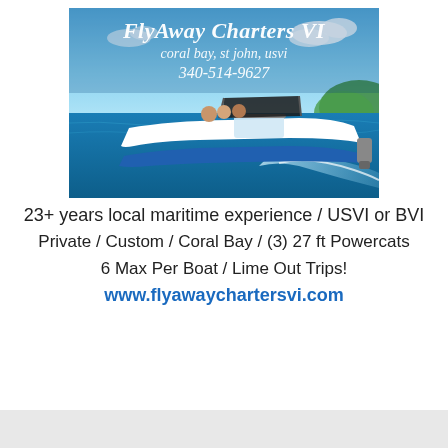[Figure (photo): Photo advertisement for FlyAway Charters VI showing a white powerboat speeding on blue Caribbean water with people on deck, with text overlay reading 'FlyAway Charters VI / coral bay, st john, usvi / 340-514-9627' on a sky background with clouds and green hills]
23+ years local maritime experience / USVI or BVI
Private / Custom / Coral Bay / (3) 27 ft Powercats
6 Max Per Boat / Lime Out Trips!
www.flyawaychartersvi.com